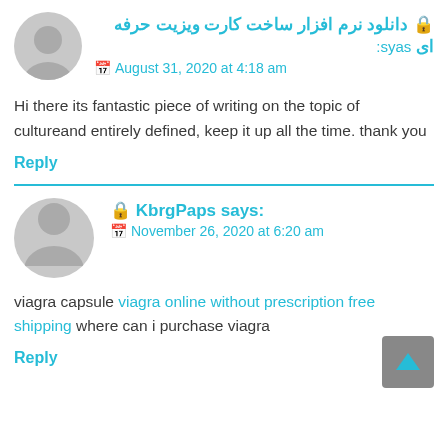🔒 دانلود نرم افزار ساخت کارت ویزیت حرفه ای says:
📅 August 31, 2020 at 4:18 am
Hi there its fantastic piece of writing on the topic of cultureand entirely defined, keep it up all the time. thank you
Reply
🔒 KbrgPaps says:
📅 November 26, 2020 at 6:20 am
viagra capsule viagra online without prescription free shipping where can i purchase viagra
Reply